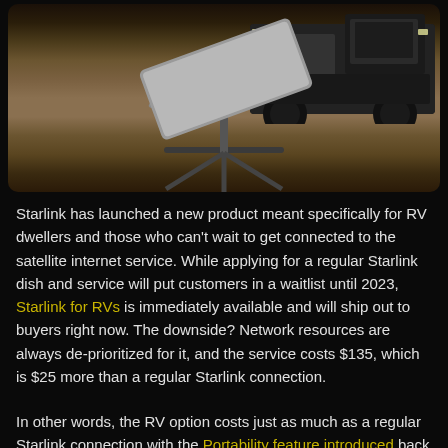[Figure (photo): Starlink satellite dish on a tripod stand outdoors on a dirt road with mountains in the background and a dark SUV/truck visible behind it]
Starlink has launched a new product meant specifically for RV dwellers and those who can't wait to get connected to the satellite internet service. While applying for a regular Starlink dish and service will put customers in a waitlist until 2023, Starlink for RVs is immediately available and will ship out to buyers right now. The downside? Network resources are always de-prioritized for it, and the service costs $135, which is $25 more than a regular Starlink connection.
In other words, the RV option costs just as much as a regular Starlink connection with the Portability feature introduced back in March that allows customers to use the service while they're away from